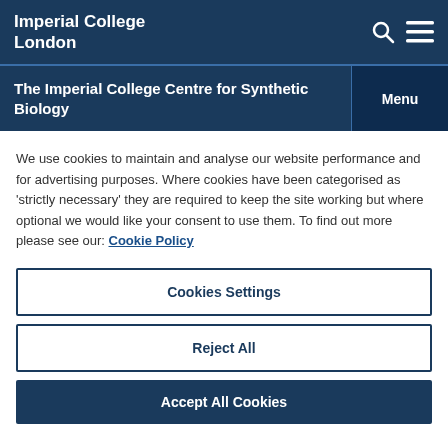Imperial College London
The Imperial College Centre for Synthetic Biology
We use cookies to maintain and analyse our website performance and for advertising purposes. Where cookies have been categorised as 'strictly necessary' they are required to keep the site working but where optional we would like your consent to use them. To find out more please see our: Cookie Policy
Cookies Settings
Reject All
Accept All Cookies